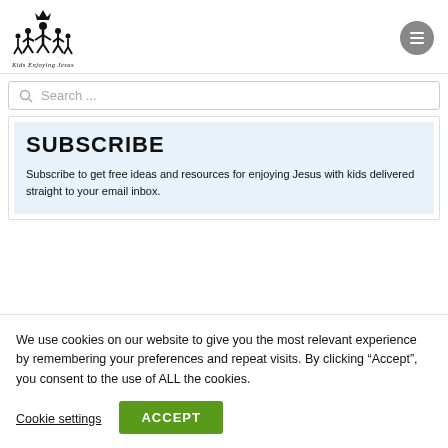[Figure (logo): Kids Enjoying Jesus logo — silhouette figures of children with a crown, text 'Kids Enjoying Jesus' below]
Search ...
SUBSCRIBE
Subscribe to get free ideas and resources for enjoying Jesus with kids delivered straight to your email inbox.
We use cookies on our website to give you the most relevant experience by remembering your preferences and repeat visits. By clicking “Accept”, you consent to the use of ALL the cookies.
Cookie settings
ACCEPT